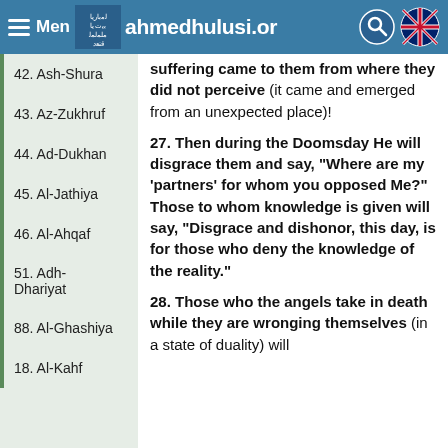Menu | ahmedhulusi.org
42. Ash-Shura
43. Az-Zukhruf
44. Ad-Dukhan
45. Al-Jathiya
46. Al-Ahqaf
51. Adh-Dhariyat
88. Al-Ghashiya
18. Al-Kahf
...upon them from above them and suffering came to them from where they did not perceive (it came and emerged from an unexpected place)!
27. Then during the Doomsday He will disgrace them and say, “Where are my ‘partners’ for whom you opposed Me?” Those to whom knowledge is given will say, “Disgrace and dishonor, this day, is for those who deny the knowledge of the reality.”
28. Those who the angels take in death while they are wronging themselves (in a state of duality) will